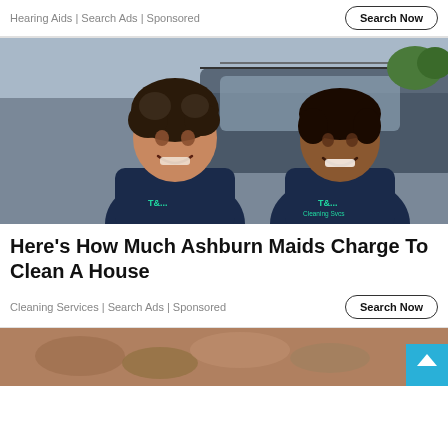Hearing Aids | Search Ads | Sponsored
Search Now
[Figure (photo): Two women in dark blue uniforms/polo shirts standing in front of a vehicle, smiling at the camera outdoors]
Here's How Much Ashburn Maids Charge To Clean A House
Cleaning Services | Search Ads | Sponsored
Search Now
[Figure (photo): Partial image at bottom of page, appears to be a close-up of food or coins]